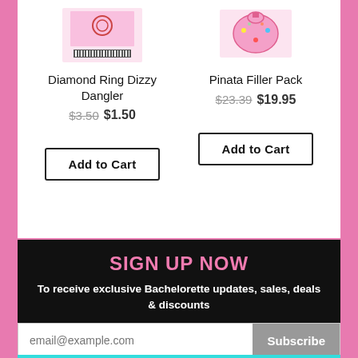[Figure (illustration): Product image of Diamond Ring Dizzy Dangler - a ring-shaped dangler toy shown in a pink-accented package with barcode]
Diamond Ring Dizzy Dangler
$3.50  $1.50
Add to Cart
Pinata Filler Pack
$23.39  $19.95
Add to Cart
SIGN UP NOW
To receive exclusive Bachelorette updates, sales, deals & discounts
email@example.com
Subscribe